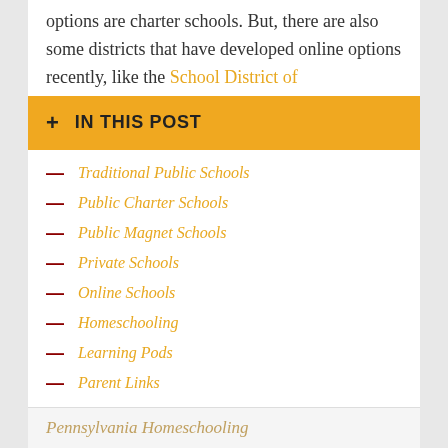options are charter schools. But, there are also some districts that have developed online options recently, like the School District of
+ IN THIS POST
Traditional Public Schools
Public Charter Schools
Public Magnet Schools
Private Schools
Online Schools
Homeschooling
Learning Pods
Parent Links
Pennsylvania Homeschooling